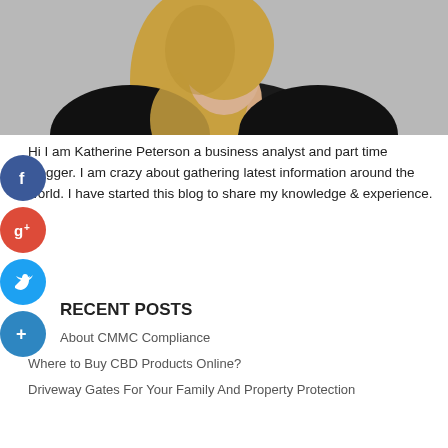[Figure (photo): Portrait photo of a woman with blonde hair wearing a dark jacket against a gray background]
Hi I am Katherine Peterson a business analyst and part time blogger. I am crazy about gathering latest information around the world. I have started this blog to share my knowledge & experience.
RECENT POSTS
About CMMC Compliance
Where to Buy CBD Products Online?
Driveway Gates For Your Family And Property Protection